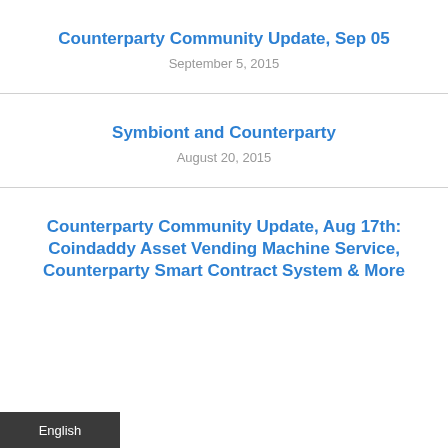Counterparty Community Update, Sep 05
September 5, 2015
Symbiont and Counterparty
August 20, 2015
Counterparty Community Update, Aug 17th: Coindaddy Asset Vending Machine Service, Counterparty Smart Contract System & More
English